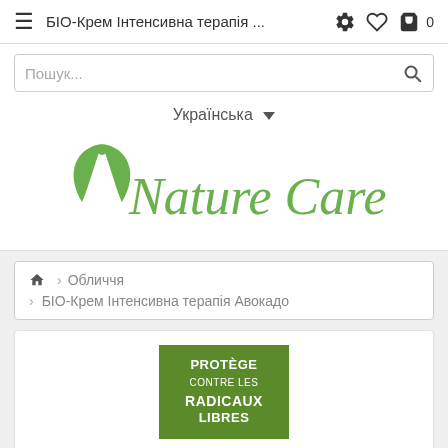БІО-Крем Інтенсивна терапія ...
Пошук...
Українська
[Figure (logo): Nature Care brand logo in green script font with leaf/person icon]
Обличчя > БІО-Крем Інтенсивна терапія Авокадо
[Figure (other): Green badge with text: PROTÈGE CONTRE LES RADICAUX LIBRES]